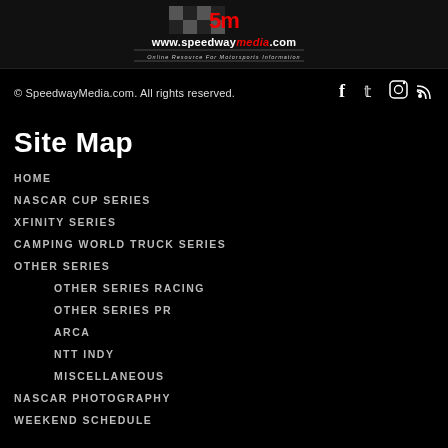[Figure (logo): SpeedwayMedia.com logo with checkered flags and tagline 'Online Resource For Motorsports Information']
© SpeedwayMedia.com. All rights reserved.
[Figure (other): Social media icons: Facebook, Twitter, Instagram, RSS]
Site Map
HOME
NASCAR CUP SERIES
XFINITY SERIES
CAMPING WORLD TRUCK SERIES
OTHER SERIES
OTHER SERIES RACING
OTHER SERIES PR
ARCA
NTT INDY
MISCELLANEOUS
NASCAR PHOTOGRAPHY
WEEKEND SCHEDULE